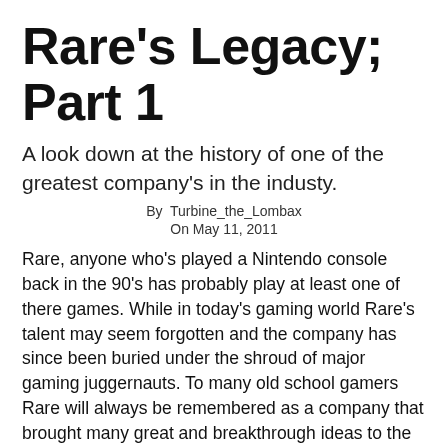Rare's Legacy; Part 1
A look down at the history of one of the greatest company's in the industy.
By  Turbine_the_Lombax
On May 11, 2011
Rare, anyone who's played a Nintendo console back in the 90's has probably play at least one of there games. While in today's gaming world Rare's talent may seem forgotten and the company has since been buried under the shroud of major gaming juggernauts. To many old school gamers Rare will always be remembered as a company that brought many great and breakthrough ideas to the industry.